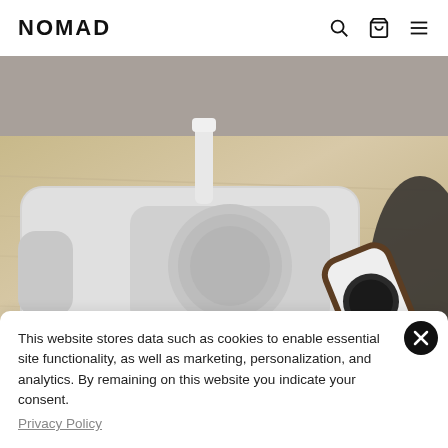NOMAD
[Figure (photo): Overhead view of a Nomad wireless charging pad and charging hub on a light wood desk, with an Apple TV remote with a leather case in the lower right.]
This website stores data such as cookies to enable essential site functionality, as well as marketing, personalization, and analytics. By remaining on this website you indicate your consent.
Privacy Policy